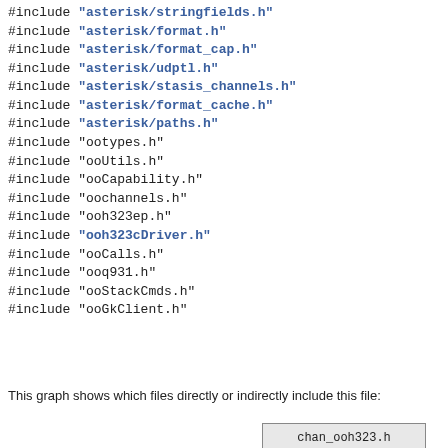#include "asterisk/stringfields.h"
#include "asterisk/format.h"
#include "asterisk/format_cap.h"
#include "asterisk/udptl.h"
#include "asterisk/stasis_channels.h"
#include "asterisk/format_cache.h"
#include "asterisk/paths.h"
#include "ootypes.h"
#include "ooUtils.h"
#include "ooCapability.h"
#include "oochannels.h"
#include "ooh323ep.h"
#include "ooh323cDriver.h"
#include "ooCalls.h"
#include "ooq931.h"
#include "ooStackCmds.h"
#include "ooGkClient.h"
This graph shows which files directly or indirectly include this file:
[Figure (flowchart): Node box labeled 'chan_ooh323.h']